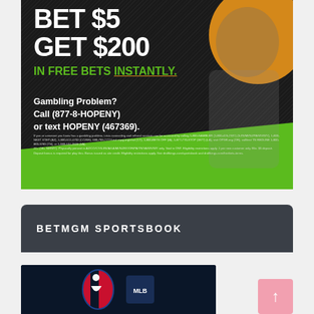[Figure (photo): DraftKings sportsbook advertisement on dark background with diagonal texture pattern and orange accent blob. Large white bold text reads BET $5 GET $200, green text reads IN FREE BETS INSTANTLY with orange underline. White text shows Gambling Problem? Call (877-8-HOPENY) or text HOPENY (467369). Fine print disclaimer text at bottom. Green diagonal wave at bottom. Person in DraftKings shirt pointing at text on right side.]
BETMGM SPORTSBOOK
[Figure (photo): Partial view of NBA logo and another sports logo on dark blue background, bottom portion of page.]